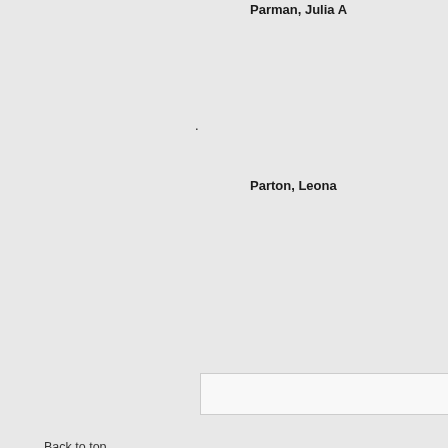Parman, Julia A
.
Parton, Leona
Back to top
CONTACT US | EMPLOYMENT | ABOU
The University of Oklahoma Libraries | 4
Disclaimer | Copyright © 2009 The Board of
The University of Oklah